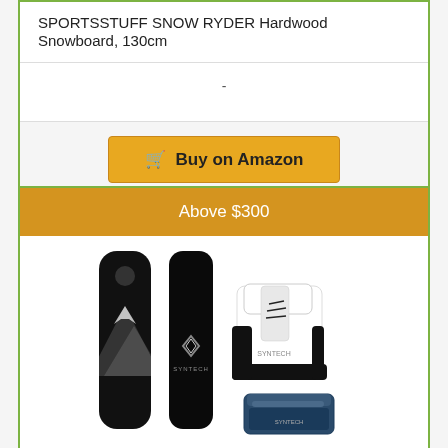SPORTSSTUFF SNOW RYDER Hardwood Snowboard, 130cm
-
[Figure (other): Buy on Amazon button with cart icon]
Above $300
[Figure (photo): Snowboard set product image showing two black snowboards with mountain graphic and logo, white and black snowboard boots, and snowboard bindings]